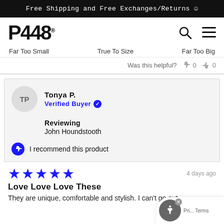Free Shipping and Free Exchanges/Returns ☺
[Figure (logo): P448 brand logo with registered trademark symbol]
Far Too Small   True To Size   Far Too Big
Was this helpful? 👍 0 👎 0
TP
Tonya P.
Verified Buyer ✔
Reviewing
John Houndstooth
I recommend this product
★★★★★
4 days ago
Love Love Love These
They are unique, comfortable and stylish. I can't go out